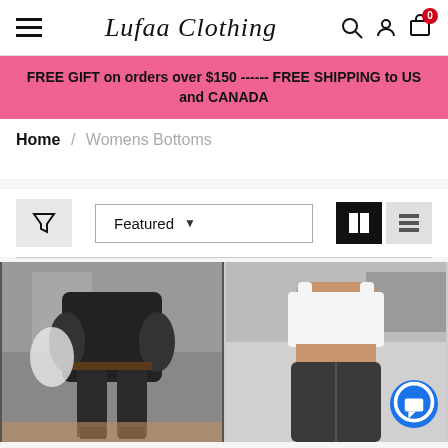Lufaa Clothing
FREE GIFT on orders over $150 ------ FREE SHIPPING to US and CANADA
Home / Womens Bottoms
[Figure (screenshot): Filter/sort toolbar with filter icon, Featured dropdown, and grid/list view toggle buttons]
[Figure (photo): Two product photos: left shows a person wearing dark jeans and black jacket; right shows a person wearing a white crop top and dark high-waisted jeans with a chat bubble icon overlay]